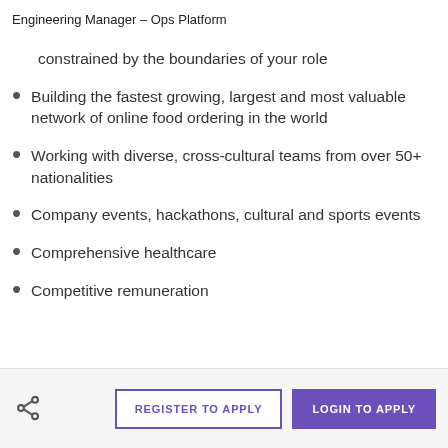Engineering Manager – Ops Platform
constrained by the boundaries of your role
Building the fastest growing, largest and most valuable network of online food ordering in the world
Working with diverse, cross-cultural teams from over 50+ nationalities
Company events, hackathons, cultural and sports events
Comprehensive healthcare
Competitive remuneration